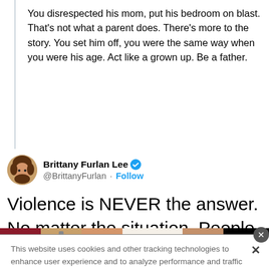You disrespected his mom, put his bedroom on blast. That's not what a parent does. There's more to the story. You set him off, you were the same way when you were his age. Act like a grown up. Be a father.
Brittany Furlan Lee @BrittanyFurlan · Follow
Violence is NEVER the answer. No matter the situation. People need to learn to talk things out, not throw
This website uses cookies and other tracking technologies to enhance user experience and to analyze performance and traffic on our website. Information about your use of our site may also be shared with social media, advertising, retail and analytics providers and partners. Privacy Policy
[Figure (screenshot): Ulta Beauty advertisement banner with makeup product images (lips, brush, eyes) and ULTA logo, with SHOP NOW call to action]